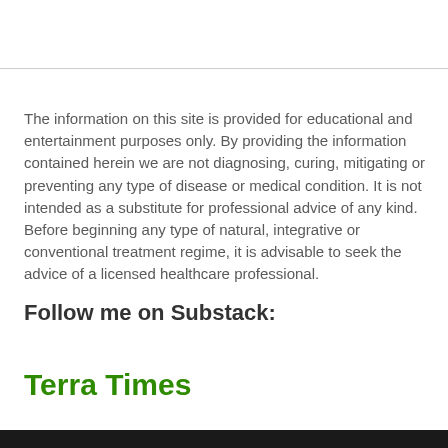The information on this site is provided for educational and entertainment purposes only. By providing the information contained herein we are not diagnosing, curing, mitigating or preventing any type of disease or medical condition. It is not intended as a substitute for professional advice of any kind. Before beginning any type of natural, integrative or conventional treatment regime, it is advisable to seek the advice of a licensed healthcare professional.
Follow me on Substack:
Terra Times